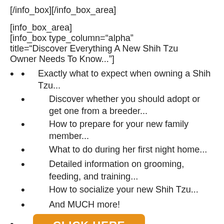[/info_box][/info_box_area]
[info_box_area]
[info_box type_column="alpha" title="Discover Everything A New Shih Tzu Owner Needs To Know..."]
Exactly what to expect when owning a Shih Tzu...
Discover whether you should adopt or get one from a breeder...
How to prepare for your new family member...
What to do during her first night home...
Detailed information on grooming, feeding, and training...
How to socialize your new Shih Tzu...
And MUCH more!
[Figure (other): Orange button with text CLICK HERE]